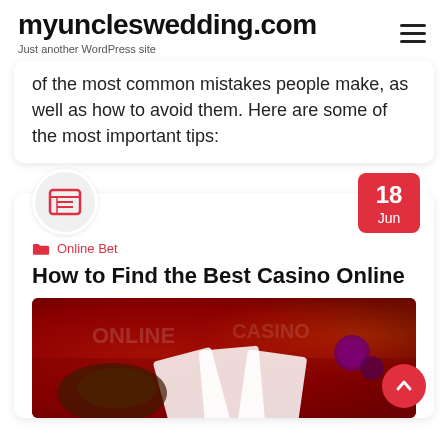myuncleswedding.com
Just another WordPress site
of the most common mistakes people make, as well as how to avoid them. Here are some of the most important tips:
Online Bet
How to Find the Best Casino Online
[Figure (photo): Casino table with playing cards and chips under red lighting, hands visible placing cards]